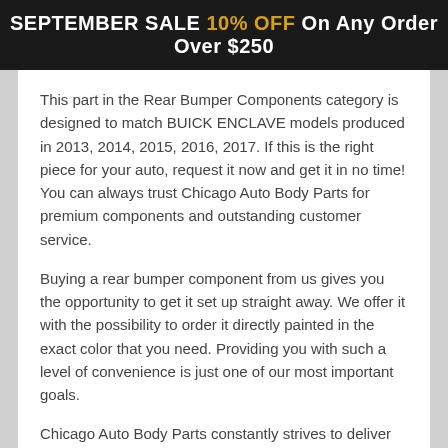SEPTEMBER SALE 10% OFF On Any Order Over $250
This part in the Rear Bumper Components category is designed to match BUICK ENCLAVE models produced in 2013, 2014, 2015, 2016, 2017. If this is the right piece for your auto, request it now and get it in no time! You can always trust Chicago Auto Body Parts for premium components and outstanding customer service.
Buying a rear bumper component from us gives you the opportunity to get it set up straight away. We offer it with the possibility to order it directly painted in the exact color that you need. Providing you with such a level of convenience is just one of our most important goals.
Chicago Auto Body Parts constantly strives to deliver premium quality of services and products. All the rear bumper components you can get here are produced to stand the test of time and help you get your car back in its fantastic condition and looking great!